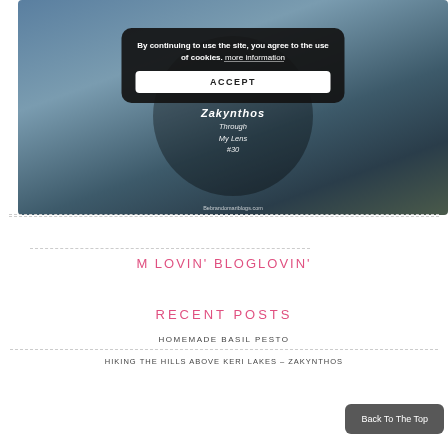[Figure (screenshot): Hero blog post image showing a scenic outdoor path with a cookie consent popup overlay. The popup reads 'By continuing to use the site, you agree to the use of cookies. more information' with an ACCEPT button. Behind the popup is italic text reading 'At h... Zakynthos' and 'Through My Lens #30'. Website credit: Bebrandomariblogs.com]
M LOVIN' BLOGLOVIN'
[Figure (infographic): Bloglovin follow button (black with + BLOGLOVIN' text) followed by a count of 253]
RECENT POSTS
HOMEMADE BASIL PESTO
HIKING THE HILLS ABOVE KERI LAKES – ZAKYNTHOS
Back To The Top